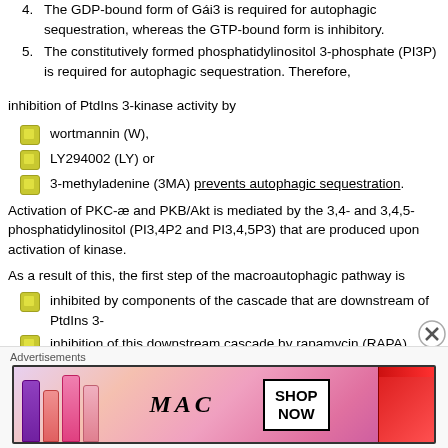4. The GDP-bound form of Gαi3 is required for autophagic sequestration, whereas the GTP-bound form is inhibitory.
5. The constitutively formed phosphatidylinositol 3-phosphate (PI3P) is required for autophagic sequestration. Therefore,
inhibition of PtdIns 3-kinase activity by
wortmannin (W),
LY294002 (LY) or
3-methyladenine (3MA) prevents autophagic sequestration.
Activation of PKC-æ and PKB/Akt is mediated by the 3,4- and 3,4,5-phosphatidylinositol (PI3,4P2 and PI3,4,5P3) that are produced upon activation of kinase.
As a result of this, the first step of the macroautophagic pathway is
inhibited by components of the cascade that are downstream of PtdIns 3-
inhibition of this downstream cascade by rapamycin (RAPA) accelerates autophagic sequestration.
[Figure (photo): MAC cosmetics advertisement banner showing lipsticks with SHOP NOW button]